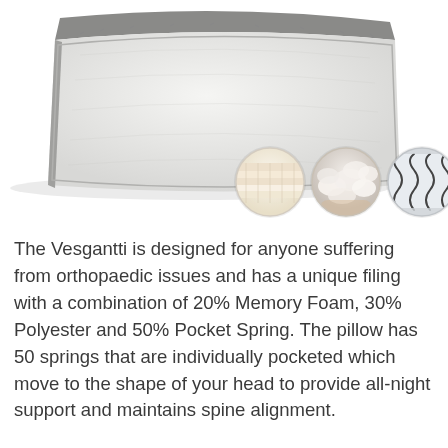[Figure (photo): A white pillow shown at an angle from the top-right, with a textured fabric cover. Below and to the right are three circular inset images showing: layered memory foam, polyester filling material, and a pocket spring coil.]
The Vesgantti is designed for anyone suffering from orthopaedic issues and has a unique filing with a combination of 20% Memory Foam, 30% Polyester and 50% Pocket Spring. The pillow has 50 springs that are individually pocketed which move to the shape of your head to provide all-night support and maintains spine alignment.